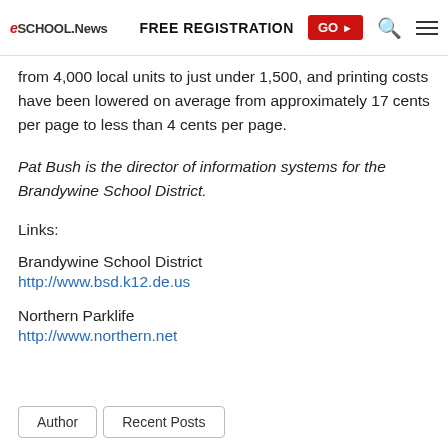eSchool News | FREE REGISTRATION GO ▶
from 4,000 local units to just under 1,500, and printing costs have been lowered on average from approximately 17 cents per page to less than 4 cents per page.
Pat Bush is the director of information systems for the Brandywine School District.
Links:
Brandywine School District
http://www.bsd.k12.de.us
Northern Parklife
http://www.northern.net
Author   Recent Posts